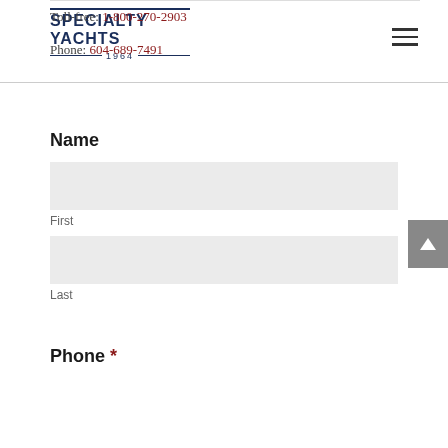[Figure (logo): Specialty Yachts logo with navy blue text and '1964' year mark]
Toll-free: 1-800-270-2903
Phone: 604-689-7491
Name
First
Last
Phone *